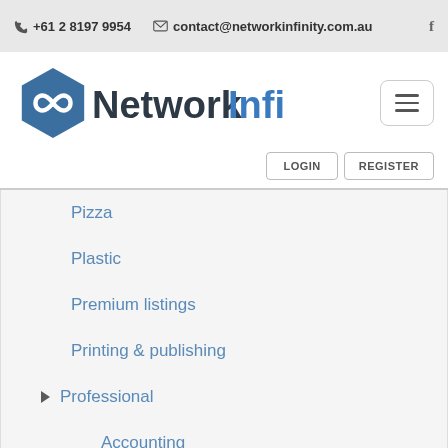+61 2 8197 9954  contact@networkinfinity.com.au
[Figure (logo): Network Infinity logo: blue hexagon with infinity symbol, text 'NetworkInfinity' in dark and blue]
Pizza
Plastic
Premium listings
Printing & publishing
Professional
Accounting
Advertising/Mkting
Bookkeeping